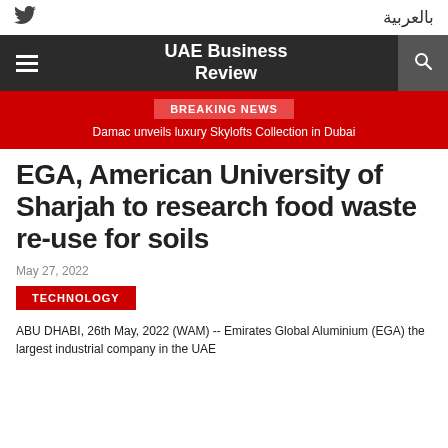بالعربية | Twitter icon | UAE Business Review
BREAKING NEWS
Damac unveils luxury Skylofts Collection in Dubai
EGA, American University of Sharjah to research food waste re-use for soils
May 27, 2022
TECHNOLOGY
ABU DHABI, 26th May, 2022 (WAM) -- Emirates Global Aluminium (EGA) the largest industrial company in the UAE